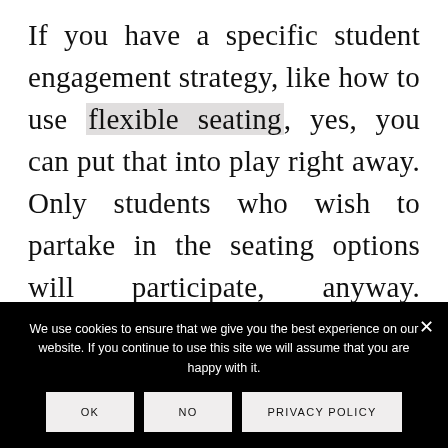If you have a specific student engagement strategy, like how to use flexible seating, yes, you can put that into play right away. Only students who wish to partake in the seating options will participate, anyway. However, longer-term, student-
We use cookies to ensure that we give you the best experience on our website. If you continue to use this site we will assume that you are happy with it.